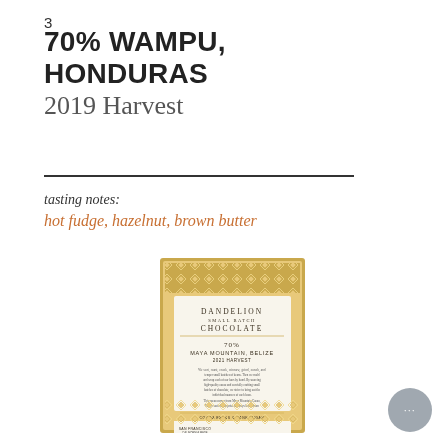3
70% WAMPU, HONDURAS 2019 Harvest
tasting notes:
hot fudge, hazelnut, brown butter
[Figure (photo): Dandelion Chocolate bar wrapper — gold and white geometric pattern packaging showing 'Dandelion Small Batch Chocolate', '70% Maya Mountain, Belize, 2021 Harvest' with descriptive text and ingredients listed on the back of the bar.]